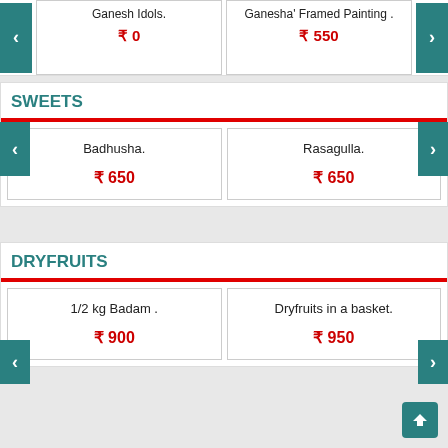Ganesh Idols.
₹ 0
Ganesha' Framed Painting .
₹ 550
SWEETS
Badhusha.
₹ 650
Rasagulla.
₹ 650
DRYFRUITS
1/2 kg Badam .
₹ 900
Dryfruits in a basket.
₹ 950